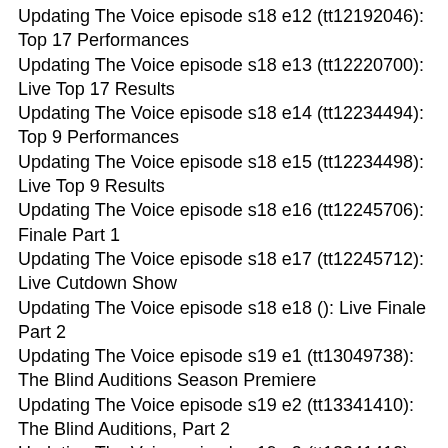Updating The Voice episode s18 e12 (tt12192046): Top 17 Performances
Updating The Voice episode s18 e13 (tt12220700): Live Top 17 Results
Updating The Voice episode s18 e14 (tt12234494): Top 9 Performances
Updating The Voice episode s18 e15 (tt12234498): Live Top 9 Results
Updating The Voice episode s18 e16 (tt12245706): Finale Part 1
Updating The Voice episode s18 e17 (tt12245712): Live Cutdown Show
Updating The Voice episode s18 e18 (): Live Finale Part 2
Updating The Voice episode s19 e1 (tt13049738): The Blind Auditions Season Premiere
Updating The Voice episode s19 e2 (tt13341410): The Blind Auditions, Part 2
Updating The Voice episode s19 e3 (tt13341412): The Blind Auditions, Part 3
Updating The Voice episode s19 e4 (tt13341418): The Blind Auditions, Part 4
Updating The Voice episode s19 e5 (tt13398488): The Blind Auditions, Part 5
Updating The Voice episode s19 e6 (tt13435410): The Battles Premiere
Updating The Voice episode s19 e7 (tt13484496): The Battles Part 2